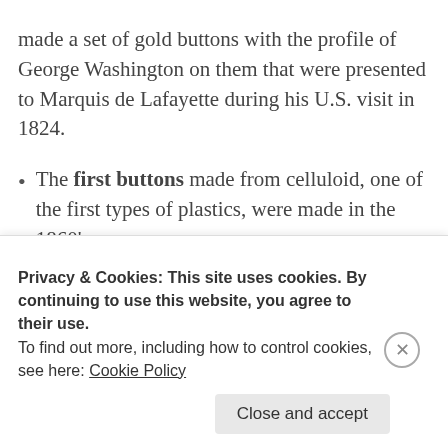made a set of gold buttons with the profile of George Washington on them that were presented to Marquis de Lafayette during his U.S. visit in 1824.
The first buttons made from celluloid, one of the first types of plastics, were made in the 1860's.
9th century, well-heeled Victorian women generally didn't dress themselves, so their buttons were designed to be handled by right-handed servants. Although wealthy men may have had servants to lay out their clothes, they generally dressed themselves, and so the buttons on the
Privacy & Cookies: This site uses cookies. By continuing to use this website, you agree to their use.
To find out more, including how to control cookies, see here: Cookie Policy
Close and accept